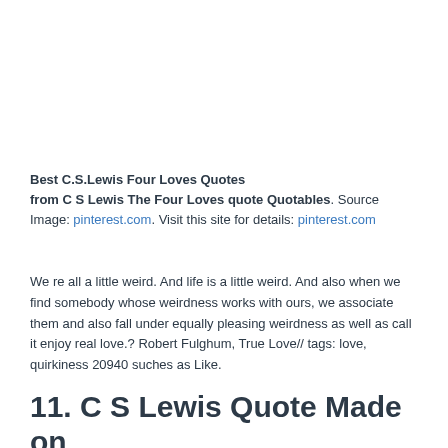Best C.S.Lewis Four Loves Quotes from C S Lewis The Four Loves quote Quotables. Source Image: pinterest.com. Visit this site for details: pinterest.com
We re all a little weird. And life is a little weird. And also when we find somebody whose weirdness works with ours, we associate them and also fall under equally pleasing weirdness as well as call it enjoy real love.? Robert Fulghum, True Love// tags: love, quirkiness 20940 suches as Like.
11. C S Lewis Quote Made on